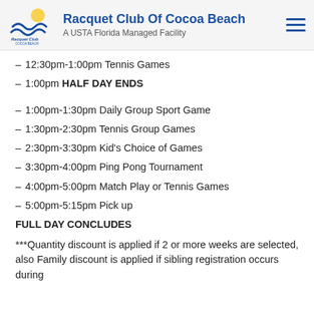Racquet Club Of Cocoa Beach — A USTA Florida Managed Facility
– 12:30pm-1:00pm Tennis Games
– 1:00pm HALF DAY ENDS
– 1:00pm-1:30pm Daily Group Sport Game
– 1:30pm-2:30pm Tennis Group Games
– 2:30pm-3:30pm Kid's Choice of Games
– 3:30pm-4:00pm Ping Pong Tournament
– 4:00pm-5:00pm Match Play or Tennis Games
– 5:00pm-5:15pm Pick up
FULL DAY CONCLUDES
***Quantity discount is applied if 2 or more weeks are selected, also Family discount is applied if sibling registration occurs during